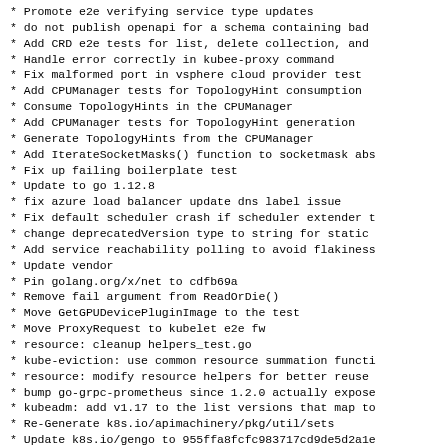* Promote e2e verifying service type updates
* do not publish openapi for a schema containing bad
* Add CRD e2e tests for list, delete collection, and
* Handle error correctly in kubee-proxy command
* Fix malformed port in vsphere cloud provider test
* Add CPUManager tests for TopologyHint consumption
* Consume TopologyHints in the CPUManager
* Add CPUManager tests for TopologyHint generation
* Generate TopologyHints from the CPUManager
* Add IterateSocketMasks() function to socketmask abs
* Fix up failing boilerplate test
* Update to go 1.12.8
* fix azure load balancer update dns label issue
* Fix default scheduler crash if scheduler extender t
* change deprecatedVersion type to string for static
* Add service reachability polling to avoid flakiness
* Update vendor
* Pin golang.org/x/net to cdfb69a
* Remove fail argument from ReadOrDie()
* Move GetGPUDevicePluginImage to the test
* Move ProxyRequest to kubelet e2e fw
* resource: cleanup helpers_test.go
* kube-eviction: use common resource summation functi
* resource: modify resource helpers for better reuse
* bump go-grpc-prometheus since 1.2.0 actually expose
* kubeadm: add v1.17 to the list versions that map to
* Re-Generate k8s.io/apimachinery/pkg/util/sets
* Update k8s.io/gengo to 955ffa8fcfc983717cd9de5d2a1e
* storage: add test for ValidateCSIDriverUpdate
* storage: check CSIDriver.Spec.VolumeLifecycleModes
* storage: validate CSIDriver.Spec.VolumeLifecycleMode